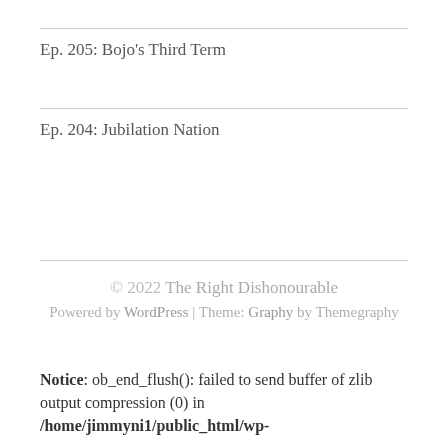Ep. 205: Bojo's Third Term
Ep. 204: Jubilation Nation
© 2022 The Right Dishonourable
Powered by WordPress | Theme: Graphy by Themegraphy
Notice: ob_end_flush(): failed to send buffer of zlib output compression (0) in /home/jimmyni1/public_html/wp-